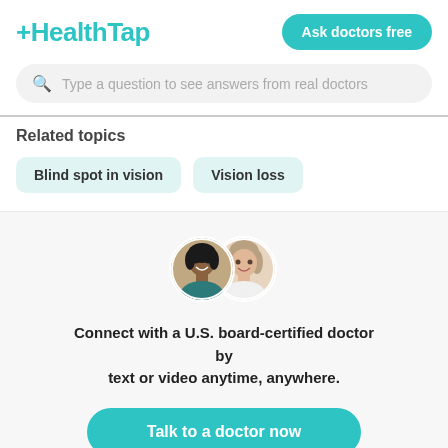[Figure (logo): HealthTap logo with plus sign in teal color]
Ask doctors free
Type a question to see answers from real doctors
Related topics
Blind spot in vision
Vision loss
[Figure (photo): Two circular doctor profile photos overlapping - one Black woman doctor smiling and one white woman doctor]
Connect with a U.S. board-certified doctor by text or video anytime, anywhere.
Talk to a doctor now
$39 video appointments with $15/month